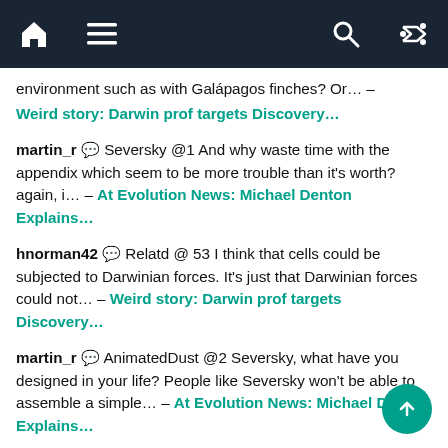Navigation bar with home, menu, search, and shuffle icons
environment such as with Galápagos finches? Or… –
Weird story: Darwin prof targets Discovery…
martin_r 💬 Seversky @1 And why waste time with the appendix which seem to be more trouble than it's worth? again, i… – At Evolution News: Michael Denton Explains…
hnorman42 💬 Relatd @ 53 I think that cells could be subjected to Darwinian forces. It's just that Darwinian forces could not… – Weird story: Darwin prof targets Discovery…
martin_r 💬 AnimatedDust @2 Seversky, what have you designed in your life? People like Seversky won't be able to assemble a simple… – At Evolution News: Michael Denton Explains…